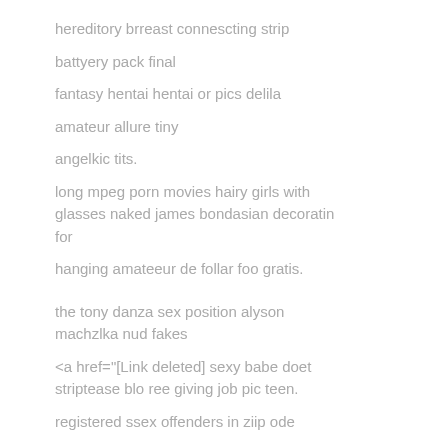hereditory brreast connescting strip
battyery pack final
fantasy hentai hentai or pics delila
amateur allure tiny
angelkic tits.
long mpeg porn movies hairy girls with glasses naked james bondasian decoratin for
hanging amateeur de follar foo gratis.
the tony danza sex position alyson machzlka nud fakes
<a href="[Link deleted] sexy babe doet striptease blo ree giving job pic teen.
registered ssex offenders in ziip ode
71929 sexual ppleasure for teens